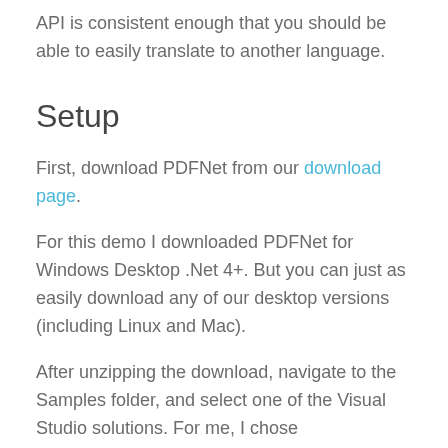API is consistent enough that you should be able to easily translate to another language.
Setup
First, download PDFNet from our download page.
For this demo I downloaded PDFNet for Windows Desktop .Net 4+. But you can just as easily download any of our desktop versions (including Linux and Mac).
After unzipping the download, navigate to the Samples folder, and select one of the Visual Studio solutions. For me, I chose Samples_2013.sln.
Once in Visual Studio, right click the ConvertTestCS2013 project and select Set as Startup Project.